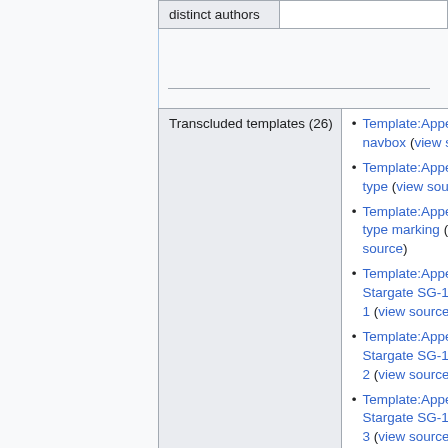| distinct authors |  |
| Transcluded templates (26) | Template:Appearance navbox (view source)
Template:Appearance type (view source)
Template:Appearance type marking (view source)
Template:Appearances Stargate SG-1 Season 1 (view source)
Template:Appearances Stargate SG-1 Season 2 (view source)
Template:Appearances Stargate SG-1 Season 3 (view source) |